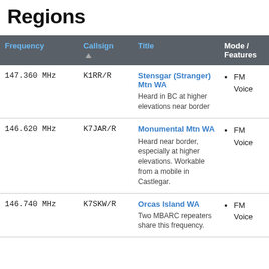Regions
| Frequency | Callsign | Title | Mode / Features |
| --- | --- | --- | --- |
| 147.360 MHz | K1RR/R | Stensgar (Stranger) Mtn WA
Heard in BC at higher elevations near border | FM Voice |
| 146.620 MHz | K7JAR/R | Monumental Mtn WA
Heard near border, especially at higher elevations. Workable from a mobile in Castlegar. | FM Voice |
| 146.740 MHz | K7SKW/R | Orcas Island WA
Two MBARC repeaters share this frequency. | FM Voice |